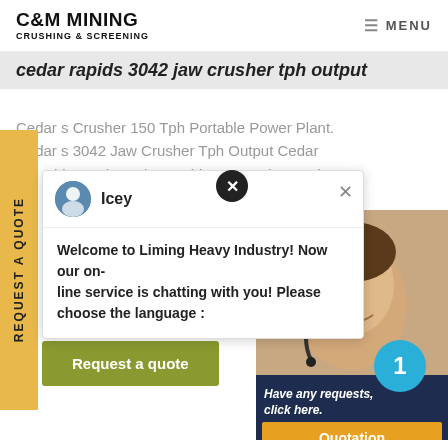C&M MINING CRUSHING & SCREENING | MENU
cedar rapids 3042 jaw crusher tph output
Cedar s Crusher 150 Tph Portable Power Plant. Cedar s 3042 Jaw Crusher Tph Output Cedar ids crusher tph portable power plant cedar thorized cedarapids crusher de d models in stationary or porta nfigurations, from 200 to 500 h
[Figure (screenshot): Chat popup from Liming Heavy Industry with avatar labeled Icey and message: Welcome to Liming Heavy Industry! Now our on-line service is chatting with you! Please choose the language :]
[Figure (photo): Customer service representative with headset, smiling, with a number badge showing 1 and a dark navy panel with text 'Have any requests, click here.' and an orange Quotation button]
Request a quote